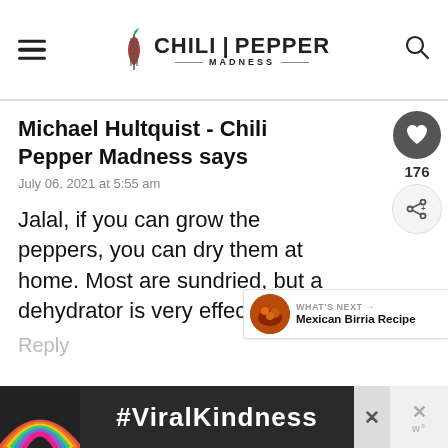Chili Pepper Madness
Michael Hultquist - Chili Pepper Madness says
July 06, 2021 at 5:55 am
Jalal, if you can grow the peppers, you can dry them at home. Most are sundried, but a dehydrator is very effective.
Reply
[Figure (screenshot): Advertisement bar with rainbow image and #ViralKindness hashtag text on dark background]